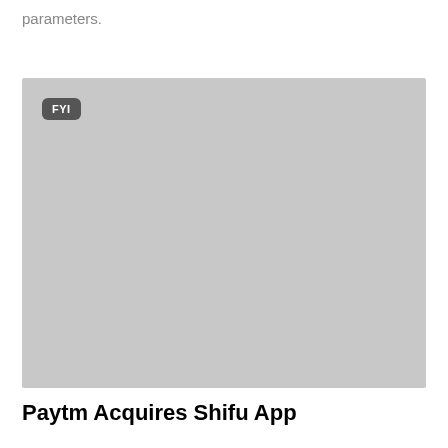parameters.
[Figure (other): A gray placeholder image with an 'FYI' badge label in the upper left corner.]
Paytm Acquires Shifu App